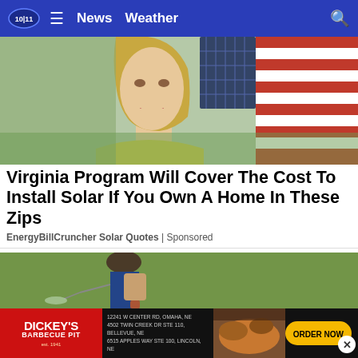10/11 ≡ News  Weather  🔍
[Figure (photo): Close-up of a young woman with blonde hair wearing a yellow shirt, with an American flag and solar panel visible in the background.]
Virginia Program Will Cover The Cost To Install Solar If You Own A Home In These Zips
EnergyBillCruncher Solar Quotes | Sponsored
[Figure (photo): A person wearing a wide-brimmed hat and blue long-sleeve shirt, carrying a backpack sprayer, walking across a green grassy field.]
[Figure (photo): Dickey's Barbecue Pit advertisement banner showing food images and order now button. Address details for Omaha, Bellevue, and Lincoln NE locations listed.]